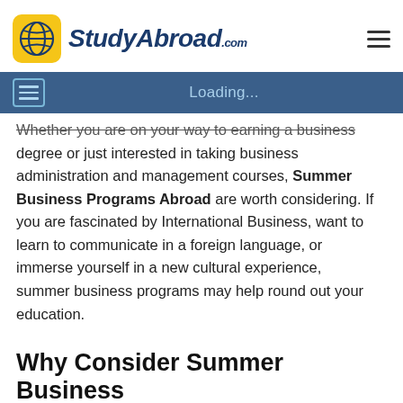StudyAbroad.com
Loading...
Whether you are on your way to earning a business degree or just interested in taking business administration and management courses, Summer Business Programs Abroad are worth considering. If you are fascinated by International Business, want to learn to communicate in a foreign language, or immerse yourself in a new cultural experience, summer business programs may help round out your education.
Why Consider Summer Business